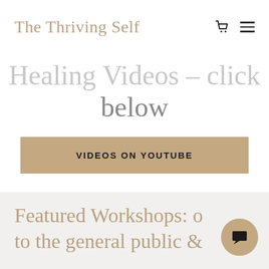The Thriving Self
Healing Videos – click below
VIDEOS ON YOUTUBE
Featured Workshops: open to the general public &